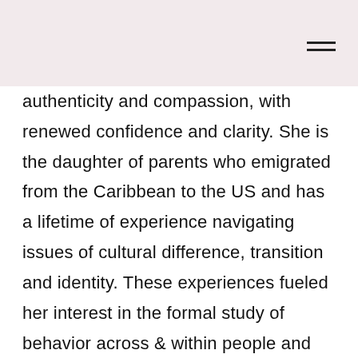authenticity and compassion, with renewed confidence and clarity. She is the daughter of parents who emigrated from the Caribbean to the US and has a lifetime of experience navigating issues of cultural difference, transition and identity. These experiences fueled her interest in the formal study of behavior across & within people and cultures; more specifically–creating opportunities for health in historically underserved communities. She pursued degrees in psychology and